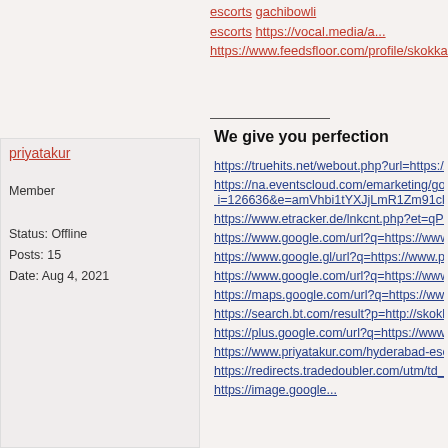escorts gachibowli escorts https://vocal.media/a... https://www.feedsfloor.com/profile/skokkaa
priyatakur
Member
Status: Offline
Posts: 15
Date: Aug 4, 2021
We give you perfection
https://truehits.net/webout.php?url=https://www...
https://na.eventscloud.com/emarketing/go.php?i=126636&e=amVhbi1tYXJjLmR1Zm91ckBmcm...
https://www.etracker.de/lnkcnt.php?et=qPKGYV...
https://www.google.com/url?q=https://www.priya...
https://www.google.gl/url?q=https://www.priyatal...
https://www.google.com/url?q=https://www.priya...
https://maps.google.com/url?q=https://www.priy...
https://search.bt.com/result?p=http://skokkaa.co...
https://plus.google.com/url?q=https://www.priyat...
https://www.priyatakur.com/hyderabad-escorts.h...
https://redirects.tradedoubler.com/utm/td_redire...
https://image.google...